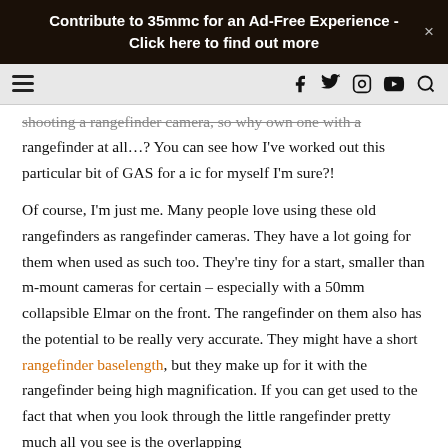Contribute to 35mmc for an Ad-Free Experience - Click here to find out more
shooting a rangefinder camera, so why own one with a rangefinder at all…? You can see how I've worked out this particular bit of GAS for a ic for myself I'm sure?!
Of course, I'm just me. Many people love using these old rangefinders as rangefinder cameras. They have a lot going for them when used as such too. They're tiny for a start, smaller than m-mount cameras for certain – especially with a 50mm collapsible Elmar on the front. The rangefinder on them also has the potential to be really very accurate. They might have a short rangefinder baselength, but they make up for it with the rangefinder being high magnification. If you can get used to the fact that when you look through the little rangefinder pretty much all you see is the overlapping